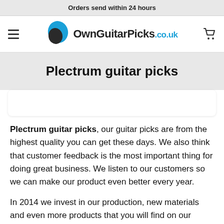Orders send within 24 hours
[Figure (logo): OwnGuitarPicks.co.uk logo with guitar pick icon in blue and dark grey, hamburger menu icon on left, cart icon on right]
Plectrum guitar picks
Plectrum guitar picks, our guitar picks are from the highest quality you can get these days. We also think that customer feedback is the most important thing for doing great business. We listen to our customers so we can make our product even better every year.
In 2014 we invest in our production, new materials and even more products that you will find on our website.